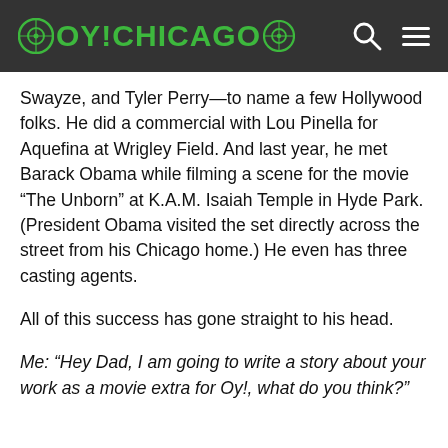OY!CHICAGO
Swayze, and Tyler Perry—to name a few Hollywood folks. He did a commercial with Lou Pinella for Aquefina at Wrigley Field. And last year, he met Barack Obama while filming a scene for the movie “The Unborn” at K.A.M. Isaiah Temple in Hyde Park. (President Obama visited the set directly across the street from his Chicago home.) He even has three casting agents.
All of this success has gone straight to his head.
Me: “Hey Dad, I am going to write a story about your work as a movie extra for Oy!, what do you think?”